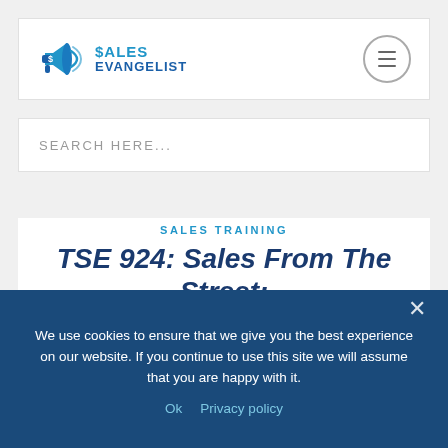[Figure (logo): The Sales Evangelist logo with megaphone icon and text '$ALES EVANGELIST']
SEARCH HERE...
SALES TRAINING
TSE 924: Sales From The Street: “The 60 Second Sale”
We use cookies to ensure that we give you the best experience on our website. If you continue to use this site we will assume that you are happy with it.
Ok   Privacy policy